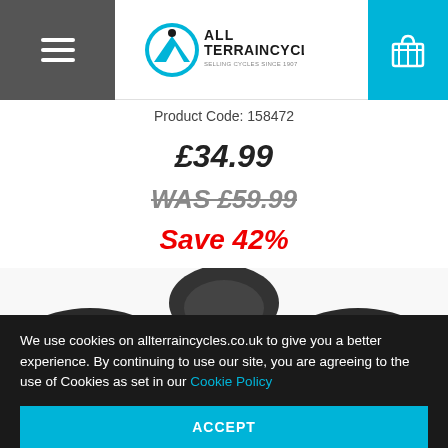[Figure (logo): All Terrain Cycles logo with mountain/cyclist icon and tagline 'Selling Cycles Since 1907']
Product Code: 158472
£34.99
WAS £59.99
Save 42%
[Figure (photo): Dark grey cycling zip-up jacket showing collar and upper body area]
We use cookies on allterraincycles.co.uk to give you a better experience. By continuing to use our site, you are agreeing to the use of Cookies as set in our Cookie Policy
ACCEPT